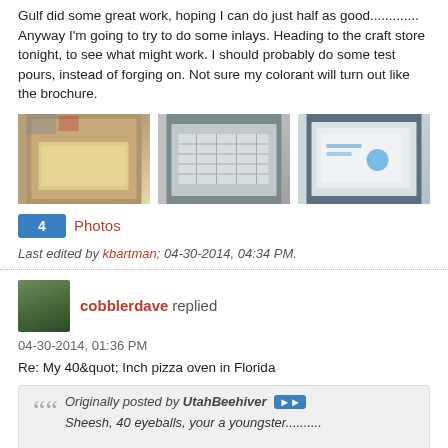Gulf did some great work, hoping I can do just half as good............. Anyway I'm going to try to do some inlays. Heading to the craft store tonight, to see what might work. I should probably do some test pours, instead of forging on. Not sure my colorant will turn out like the brochure.
[Figure (photo): Three photos showing concrete countertop work in progress — molds and forms on tables]
4 Photos
Last edited by kbartman; 04-30-2014, 04:34 PM.
cobblerdave replied
04-30-2014, 01:36 PM
Re: My 40&quot; Inch pizza oven in Florida
Originally posted by UtahBeehiver
Sheesh, 40 eyeballs, your a youngster..........

Check Gulf's build he did a lot of face down concrete counter pours.